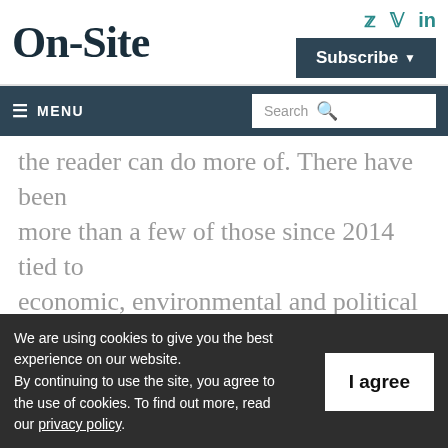On-Site
the reader can do more of. There have been more than a few of those since 2014 tied to economic, environmental and political whims.
That's not to say major building projects in the oil and gas industry have dried up entirely. In the pipeline arena alone, construction on
We are using cookies to give you the best experience on our website. By continuing to use the site, you agree to the use of cookies. To find out more, read our privacy policy.